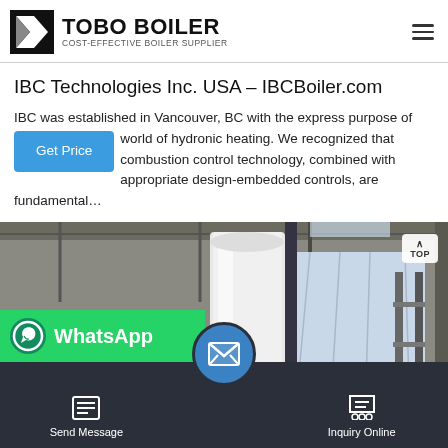TOBO BOILER — COST-EFFECTIVE BOILER SUPPLIER
IBC Technologies Inc. USA – IBCBoiler.com
IBC was established in Vancouver, BC with the express purpose of world of hydronic heating. We recognized that combustion control technology, combined with appropriate design-embedded controls, are fundamental…
[Figure (photo): Industrial factory floor showing large white cylindrical boiler units wrapped in protective covering, with workers in blue uniforms visible in the background]
WhatsApp
Send Message
Inquiry Online